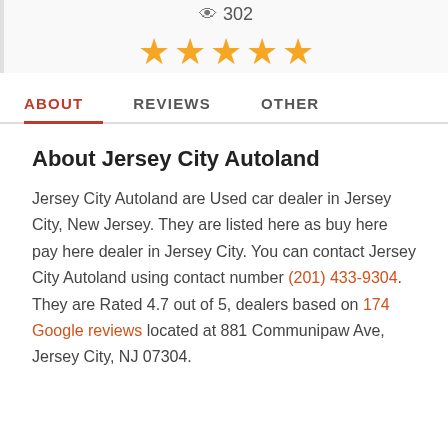302
[Figure (other): Five orange/gold star rating icons displayed in a row]
ABOUT   REVIEWS   OTHER
About Jersey City Autoland
Jersey City Autoland are Used car dealer in Jersey City, New Jersey. They are listed here as buy here pay here dealer in Jersey City. You can contact Jersey City Autoland using contact number (201) 433-9304. They are Rated 4.7 out of 5, dealers based on 174 Google reviews located at 881 Communipaw Ave, Jersey City, NJ 07304.